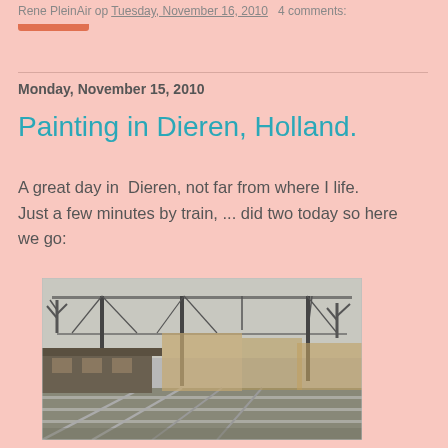Rene PleinAir op Tuesday, November 16, 2010  4 comments:
Share
Monday, November 15, 2010
Painting in Dieren, Holland.
A great day in  Dieren, not far from where I life. Just a few minutes by train, ... did two today so here we go:
[Figure (illustration): A painting of a train station in Dieren, Holland. Shows railway tracks, overhead electric wires on tall poles, a station shelter/building on the left, bare trees, and a cloudy grey sky. The painting has a muted, realistic style with autumn colors.]